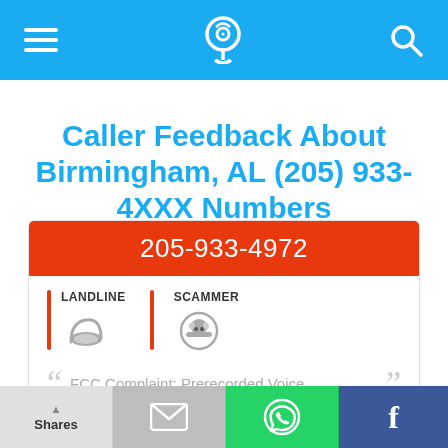Navigation bar with menu, phone/location icon, and search icon
Caller Feedback About Birmingham, AL (205) 933-4XXX Numbers
205-933-4972
LANDLINE | SCAMMER
FCC Complaint: Prerecorded Voice
Shares | Email | WhatsApp | Facebook